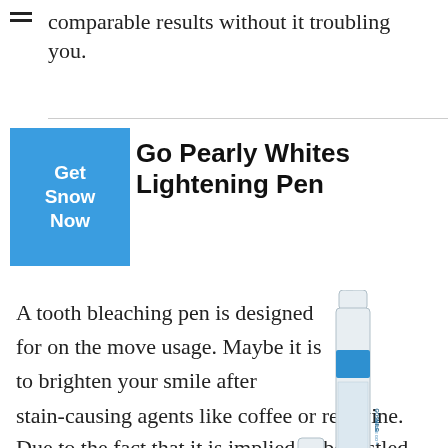comparable results without it troubling you.
Go Pearly Whites Lightening Pen
A tooth bleaching pen is designed for on the move usage. Maybe it is to brighten your smile after stain-causing agents like coffee or red wine. Due to the fact that it is implied to be jostled, there is
[Figure (photo): GoSmile On The Go tooth whitening pen product photo showing a slim twist pen with blue accent band and cap]